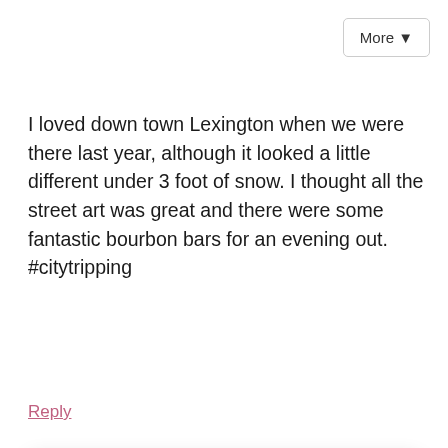More ▼
I loved down town Lexington when we were there last year, although it looked a little different under 3 foot of snow. I thought all the street art was great and there were some fantastic bourbon bars for an evening out. #citytripping
Reply
Follow me on:
[Figure (infographic): Six social media icons in circles: Facebook (f), Instagram, Pinterest, Twitter bird, Bloglovin (B), RSS feed]
Or sign up to my newsletter
Subscribe
Sign Up!
Reply